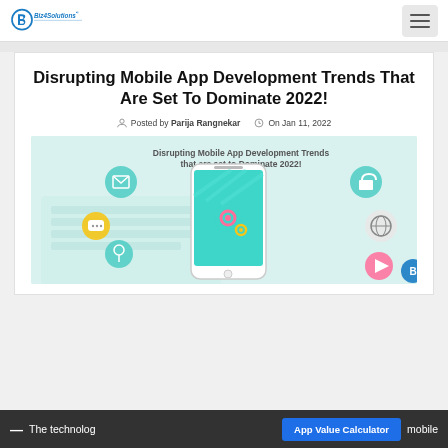Biz4Solutions
Disrupting Mobile App Development Trends That Are Set To Dominate 2022!
Posted by Parija Rangnekar   On Jan 11, 2022
[Figure (illustration): Promotional illustration for 'Disrupting Mobile App Development Trends that are set to Dominate 2022!' showing a smartphone with app icons including email, location pin, chat, security lock, globe, play button, wifi, and upload, with gear/settings icons on the phone screen. Biz4Solutions branding in bottom right.]
— The technolog... mobile